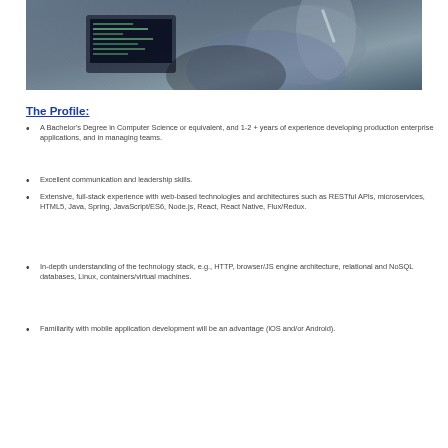[Figure (photo): Person working at laptop with code on screen, collaborative office environment]
The Profile:
A Bachelor's Degree in Computer Science or equivalent, and 1-2 + years of experience developing production enterprise applications, and in managing teams.
Excellent communication and leadership skills.
Extensive, full-stack experience with web-based technologies and architectures such as RESTful APIs, microservices, HTML5, Java, Spring, JavaScript/ES6, Node.js, React, React Native, Flux/Redux.
In-depth understanding of the technology stack, e.g., HTTP, browser/JS engine architecture, relational and NoSQL databases, Linux, containers/virtual machines.
Familiarity with mobile application development will be an advantage (iOS and/or Android).